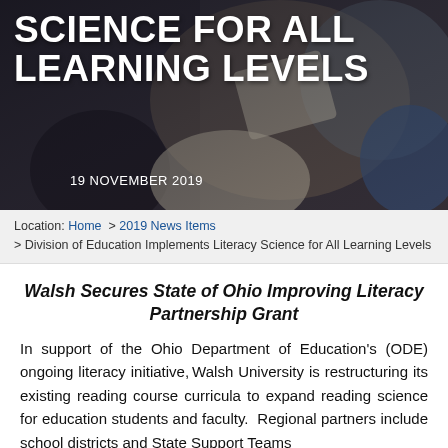[Figure (photo): Hero image showing students studying, overlaid with large white text title 'SCIENCE FOR ALL LEARNING LEVELS' and date '19 NOVEMBER 2019']
SCIENCE FOR ALL LEARNING LEVELS
19 NOVEMBER 2019
Location: Home > 2019 News Items > Division of Education Implements Literacy Science for All Learning Levels
Walsh Secures State of Ohio Improving Literacy Partnership Grant
In support of the Ohio Department of Education's (ODE) ongoing literacy initiative, Walsh University is restructuring its existing reading course curricula to expand reading science for education students and faculty.  Regional partners include school districts and State Support Teams